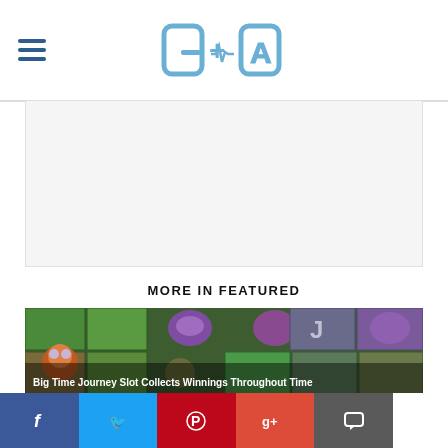GCA (logo with hamburger menu)
[Figure (other): White advertisement placeholder area]
MORE IN FEATURED
[Figure (photo): Big Time Journey Slot machine game screenshot with colorful gem and number symbols]
Big Time Journey Slot Collects Winnings Throughout Time
[Figure (photo): Lotto scratch cards/tickets with 'lotto' text and star logos on red background]
£2.1M National Lottery Results for Wednesday August 12
[Figure (other): Social media sharing bar with Facebook, Twitter, Pinterest, Google+, and comment icons]